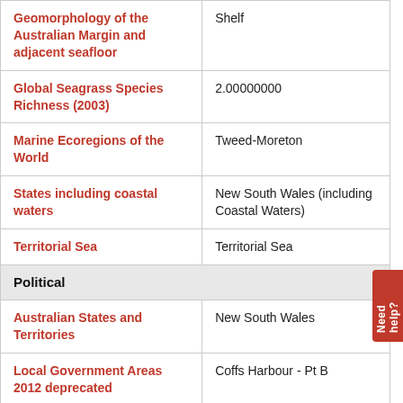| Layer | Value |
| --- | --- |
| Geomorphology of the Australian Margin and adjacent seafloor | Shelf |
| Global Seagrass Species Richness (2003) | 2.00000000 |
| Marine Ecoregions of the World | Tweed-Moreton |
| States including coastal waters | New South Wales (including Coastal Waters) |
| Territorial Sea | Territorial Sea |
| Political |  |
| Australian States and Territories | New South Wales |
| Local Government Areas 2012 deprecated | Coffs Harbour - Pt B |
| PSMA ABS Census Indigenous Language Speakers by Area - I01B (2016) | 102 |